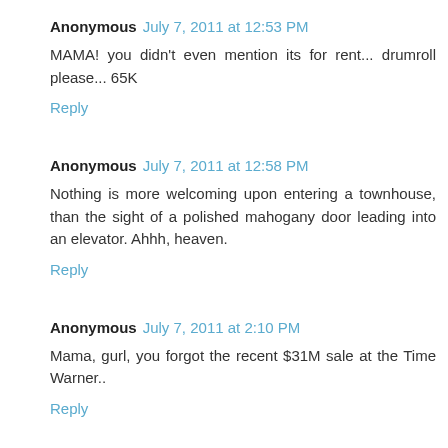Anonymous July 7, 2011 at 12:53 PM
MAMA! you didn't even mention its for rent... drumroll please... 65K
Reply
Anonymous July 7, 2011 at 12:58 PM
Nothing is more welcoming upon entering a townhouse, than the sight of a polished mahogany door leading into an elevator. Ahhh, heaven.
Reply
Anonymous July 7, 2011 at 2:10 PM
Mama, gurl, you forgot the recent $31M sale at the Time Warner..
Reply